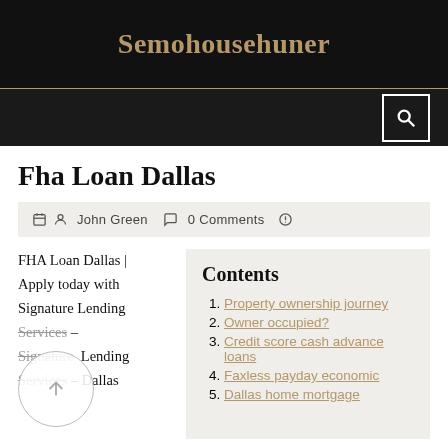Semohousehuner
Fha Loan Dallas
John Green  0 Comments
FHA Loan Dallas | Apply today with Signature Lending Services – Signature Lending Services – Dallas
Contents
1. Property ownership journey
2. Owner occupied?
3. Credit score cash advance loans
4. Faxless payday economic
5. Dallas home mortgage